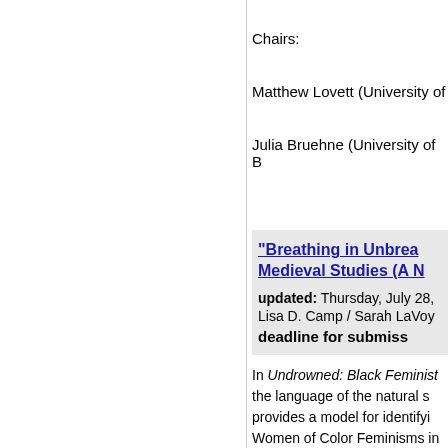Chairs:
Matthew Lovett (University of
Julia Bruehne (University of B
"Breathing in Unbrea... Medieval Studies (A N...
updated: Thursday, July 28,
Lisa D. Camp / Sarah LaVoy
deadline for submiss
In Undrowned: Black Feminist... the language of the natural s... provides a model for identifyi... Women of Color Feminisms in... of such integration "unbreath